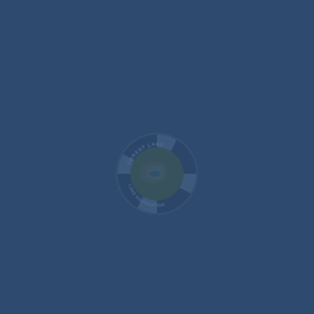[Figure (logo): Forest Lake logo — a life preserver ring with a lake/landscape map image in the center, text around the ring reading 'FOREST LAKE' at top and 'LAKE ASSOCIATION' at bottom, with blue and white segments. The logo appears faintly watermarked in blue tones against the dark blue background.]